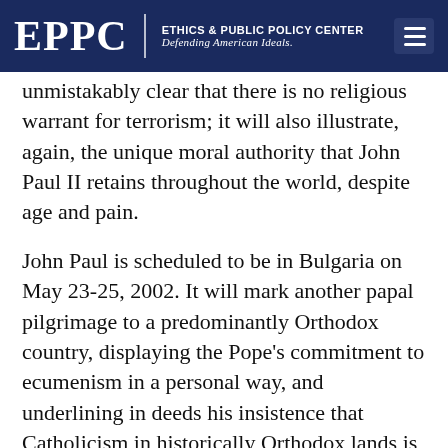EPPC | ETHICS & PUBLIC POLICY CENTER Defending American Ideals.
unmistakably clear that there is no religious warrant for terrorism; it will also illustrate, again, the unique moral authority that John Paul II retains throughout the world, despite age and pain.
John Paul is scheduled to be in Bulgaria on May 23-25, 2002. It will mark another papal pilgrimage to a predominantly Orthodox country, displaying the Pope's commitment to ecumenism in a personal way, and underlining in deeds his insistence that Catholicism in historically Orthodox lands is no aggressive force.